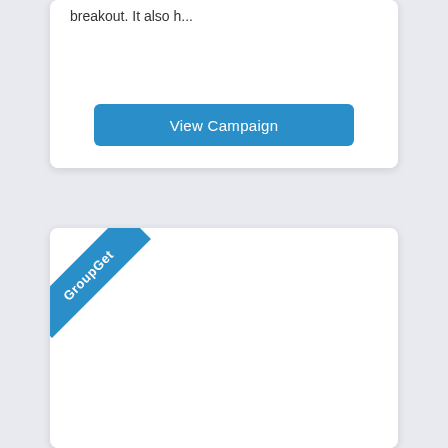breakout. It also h...
View Campaign
[Figure (illustration): A card UI element with a blue corner ribbon labeled 'GroupGet']